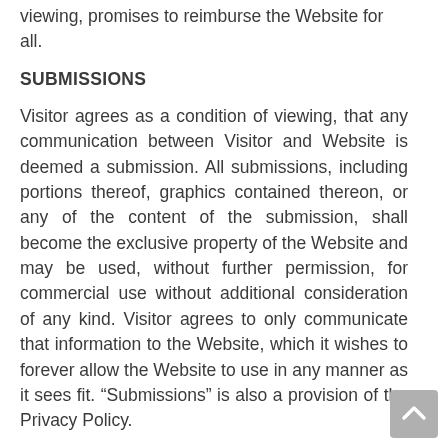viewing, promises to reimburse the Website for all.
SUBMISSIONS
Visitor agrees as a condition of viewing, that any communication between Visitor and Website is deemed a submission. All submissions, including portions thereof, graphics contained thereon, or any of the content of the submission, shall become the exclusive property of the Website and may be used, without further permission, for commercial use without additional consideration of any kind. Visitor agrees to only communicate that information to the Website, which it wishes to forever allow the Website to use in any manner as it sees fit. “Submissions” is also a provision of the Privacy Policy.
NOTICE
No additional notice of any kind for any reason is due Visitor and Visitor expressly warrants an understanding that the rig to notice is waived as a condition for permission to view or interact with the website.